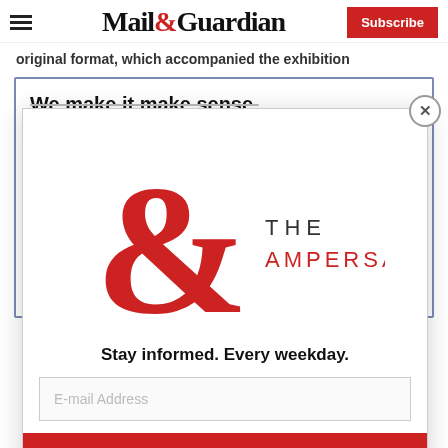Mail&Guardian | Subscribe
original format, which accompanied the exhibition
We make it make sense.
[Figure (logo): The Ampersand newsletter logo — large red ampersand symbol with 'THE AMPERSAND' text]
Stay informed. Every weekday.
E-mail Address
Signup now